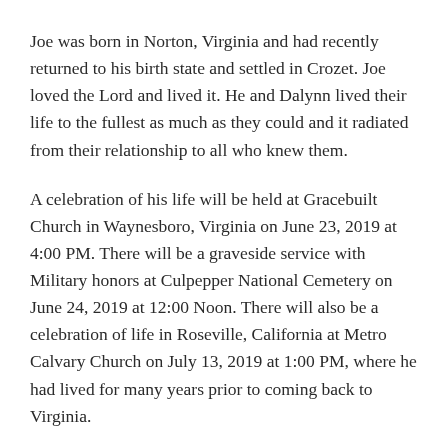Joe was born in Norton, Virginia and had recently returned to his birth state and settled in Crozet. Joe loved the Lord and lived it. He and Dalynn lived their life to the fullest as much as they could and it radiated from their relationship to all who knew them.
A celebration of his life will be held at Gracebuilt Church in Waynesboro, Virginia on June 23, 2019 at 4:00 PM. There will be a graveside service with Military honors at Culpepper National Cemetery on June 24, 2019 at 12:00 Noon. There will also be a celebration of life in Roseville, California at Metro Calvary Church on July 13, 2019 at 1:00 PM, where he had lived for many years prior to coming back to Virginia.